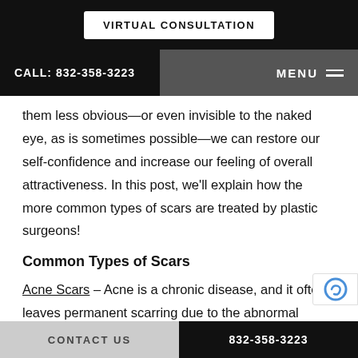VIRTUAL CONSULTATION
CALL: 832-358-3223   MENU
them less obvious—or even invisible to the naked eye, as is sometimes possible—we can restore our self-confidence and increase our feeling of overall attractiveness. In this post, we'll explain how the more common types of scars are treated by plastic surgeons!
Common Types of Scars
Acne Scars – Acne is a chronic disease, and it often leaves permanent scarring due to the abnormal healing proce—
CONTACT US   832-358-3223